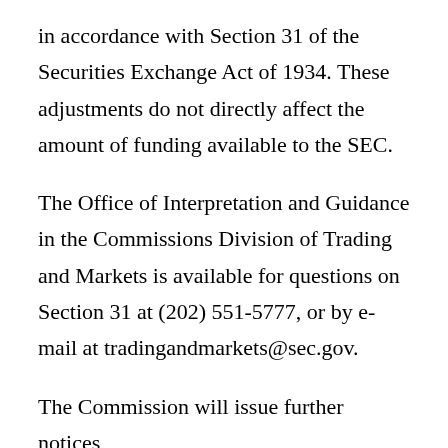in accordance with Section 31 of the Securities Exchange Act of 1934. These adjustments do not directly affect the amount of funding available to the SEC.
The Office of Interpretation and Guidance in the Commissions Division of Trading and Markets is available for questions on Section 31 at (202) 551-5777, or by e-mail at tradingandmarkets@sec.gov.
The Commission will issue further notices...